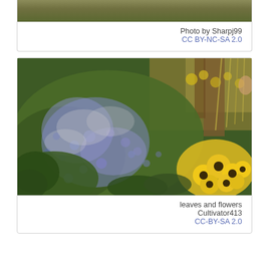[Figure (photo): Partial top edge of an outdoor nature photo showing foliage]
Photo by Sharpj99
CC BY-NC-SA 2.0
[Figure (photo): Garden photo showing blue-purple flowering plants (possibly salvia or ageratum) mixed with green leafy plants and bright yellow daisy-like flowers in the background and foreground right]
leaves and flowers
Cultivator413
CC-BY-SA 2.0